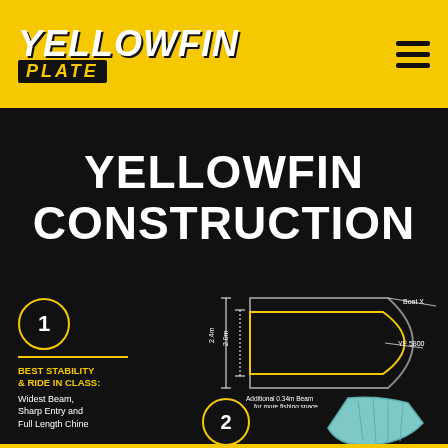[Figure (logo): Yellowfin Plate logo in yellow header bar with hamburger menu icon]
YELLOWFIN CONSTRUCTION
[Figure (engineering-diagram): Top-down boat outline diagram showing two overlapping boat shapes: 'Boat X' (wider, outer shape) and 'YF 5800' (narrower, inner shape), with dimension lines showing 2.4m and 2.0m beam widths, and annotation 'Additional 0.34m Beam for more fishing space']
BEST STABILITY & RIDE IN CLASS: Widest Beam, Sharp Entry and Full Length Chine
[Figure (illustration): Partial view of boat number 2 illustration at bottom of page]